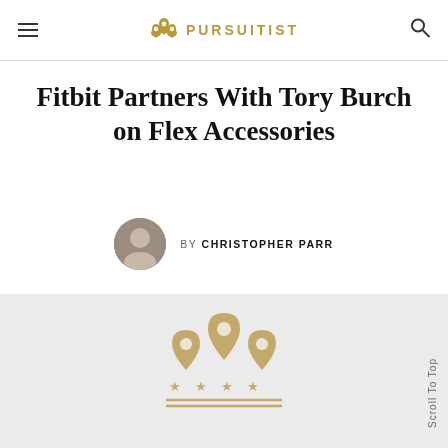PURSUITIST
Fitbit Partners With Tory Burch on Flex Accessories
BY CHRISTOPHER PARR
[Figure (logo): Pursuitist logo — three map-pin location markers arranged in a crown pattern above a row of four stars and two horizontal lines, rendered in gold/tan color]
Scroll To Top